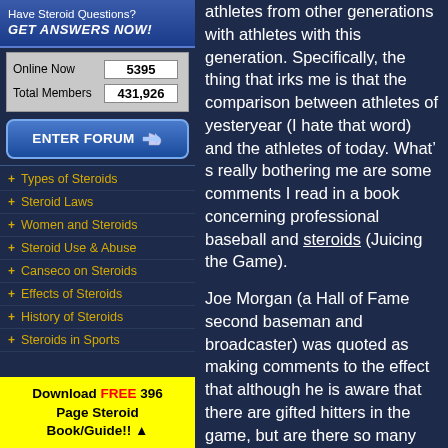[Figure (infographic): Ad banner: 'Have Steroid Questions? GET ANSWERS NOW!']
| Online Now | 5395 |
| Total Members | 431,926 |
[Figure (infographic): ENTER FORUM button with arrow icon]
+ Types of Steroids
+ Steroid Laws
+ Women and Steroids
+ Steroid Use & Abuse
+ Canseco on Steroids
+ Effects of Steroids
+ History of Steroids
+ Steroids in Sports
[Figure (infographic): Download FREE 396 Page Steroid Book/Guide!! yellow banner ad]
athletes from other generations with athletes with this generation. Specifically, the thing that irks me is that the comparison between athletes of yesteryear (I hate that word) and the athletes of today. What’ s really bothering me are some comments I read in a book concerning professional baseball and steroids (Juicing the Game).
Joe Morgan (a Hall of Fame second baseman and broadcaster) was quoted as making comments to the effect that although he is aware that there are gifted hitters in the game, but are there so many more than there were in his generation?